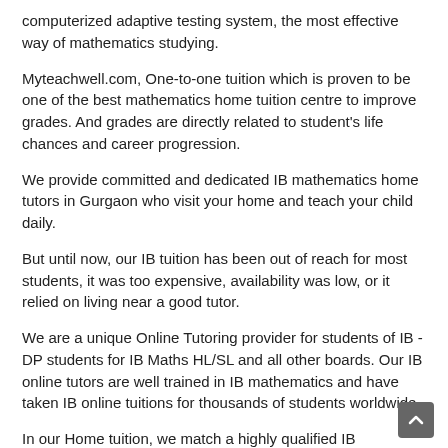computerized adaptive testing system, the most effective way of mathematics studying.
Myteachwell.com, One-to-one tuition which is proven to be one of the best mathematics home tuition centre to improve grades. And grades are directly related to student's life chances and career progression.
We provide committed and dedicated IB mathematics home tutors in Gurgaon who visit your home and teach your child daily.
But until now, our IB tuition has been out of reach for most students, it was too expensive, availability was low, or it relied on living near a good tutor.
We are a unique Online Tutoring provider for students of IB -DP students for IB Maths HL/SL and all other boards. Our IB online tutors are well trained in IB mathematics and have taken IB online tuitions for thousands of students worldwide.
In our Home tuition, we match a highly qualified IB mathematics home tutor in Gurgaon as per the requirement of the student which